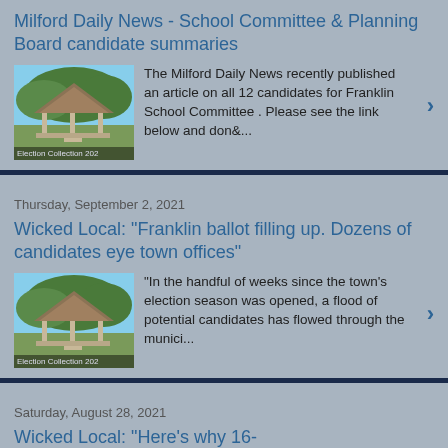Milford Daily News - School Committee & Planning Board candidate summaries
The Milford Daily News recently published an article on all 12 candidates for Franklin School Committee . Please see the link below and don&...
Thursday, September 2, 2021
Wicked Local: "Franklin ballot filling up. Dozens of candidates eye town offices"
"In the handful of weeks since the town's election season was opened, a flood of potential candidates has flowed through the munici...
Saturday, August 28, 2021
Wicked Local: "Here's why 16-